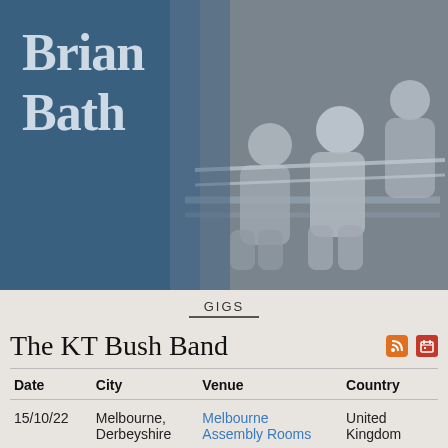[Figure (photo): Album cover for Brian Bath. Left side shows a steel blue panel with text 'Brian Bath' in large serif font. Right side shows a vintage black and white photo of children sitting on a bench outdoors near a brick wall.]
GIGS
The KT Bush Band
| Date | City | Venue | Country |
| --- | --- | --- | --- |
| 15/10/22 | Melbourne, Derbeyshire | Melbourne Assembly Rooms | United Kingdom |